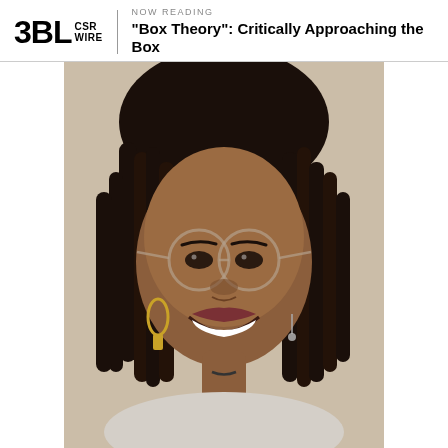3BL CSR WIRE | NOW READING "Box Theory": Critically Approaching the Box
[Figure (photo): Portrait photo of a young Black woman smiling broadly, wearing round clear-framed glasses, box braids, gold oval drop earrings, and a light-colored top. She appears to be indoors with a light wall behind her.]